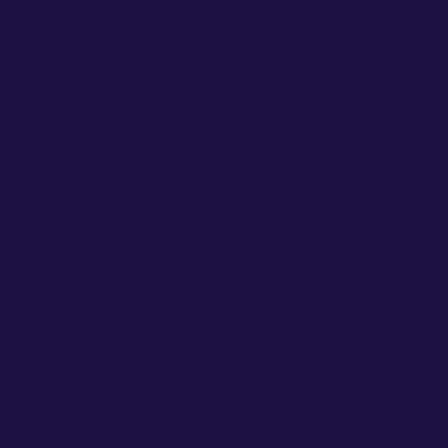at with Kabir, Camille, & Jeremy Hen